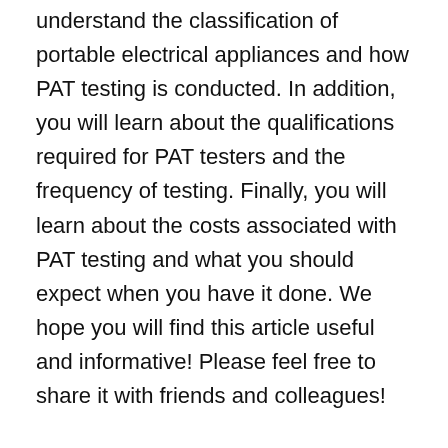understand the classification of portable electrical appliances and how PAT testing is conducted. In addition, you will learn about the qualifications required for PAT testers and the frequency of testing. Finally, you will learn about the costs associated with PAT testing and what you should expect when you have it done. We hope you will find this article useful and informative! Please feel free to share it with friends and colleagues!
Classification of portable electrical appliances
While most businesses are aware that PAT Testing is required, many aren't aware of the difference between Class I and Class II. PAT Testing is an essential part of electrical safety for businesses, but it's important to know what to look for and how often you should test them. In the IEC 61140 standard, each category has its own classification. Listed appliances, such as laptops, mobile phones, and IT